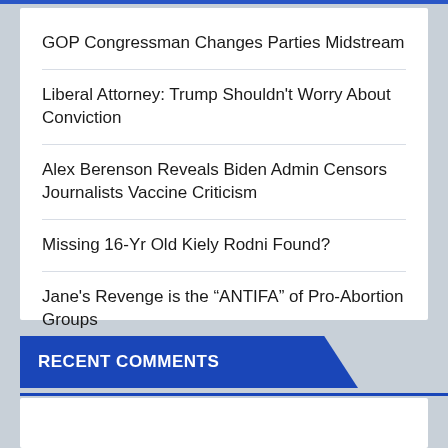GOP Congressman Changes Parties Midstream
Liberal Attorney: Trump Shouldn't Worry About Conviction
Alex Berenson Reveals Biden Admin Censors Journalists Vaccine Criticism
Missing 16-Yr Old Kiely Rodni Found?
Jane's Revenge is the “ANTIFA” of Pro-Abortion Groups
RECENT COMMENTS